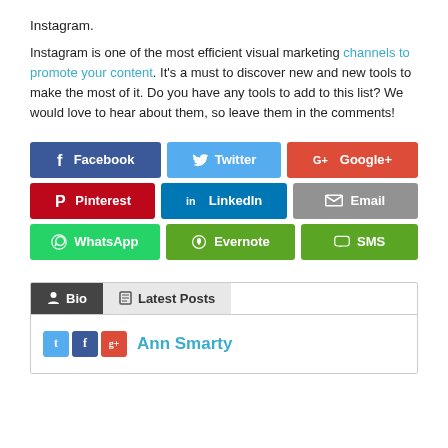Instagram.
Instagram is one of the most efficient visual marketing channels to promote your content. It's a must to discover new and new tools to make the most of it. Do you have any tools to add to this list? We would love to hear about them, so leave them in the comments!
[Figure (infographic): Social media share buttons: Facebook, Twitter, Google+, Pinterest, LinkedIn, Email, WhatsApp, Evernote, SMS]
[Figure (infographic): Author bio section with Bio and Latest Posts tabs, showing social icons and author name Ann Smarty]